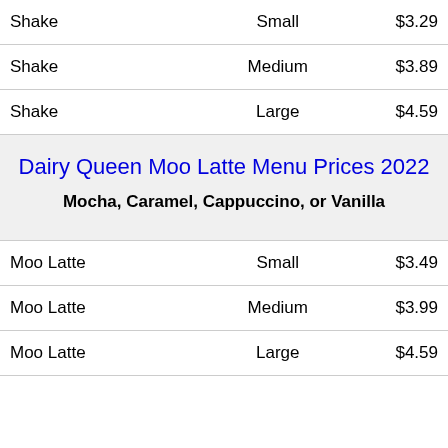| Item | Size | Price |
| --- | --- | --- |
| Shake | Small | $3.29 |
| Shake | Medium | $3.89 |
| Shake | Large | $4.59 |
Dairy Queen Moo Latte Menu Prices 2022
Mocha, Caramel, Cappuccino, or Vanilla
| Item | Size | Price |
| --- | --- | --- |
| Moo Latte | Small | $3.49 |
| Moo Latte | Medium | $3.99 |
| Moo Latte | Large | $4.59 |